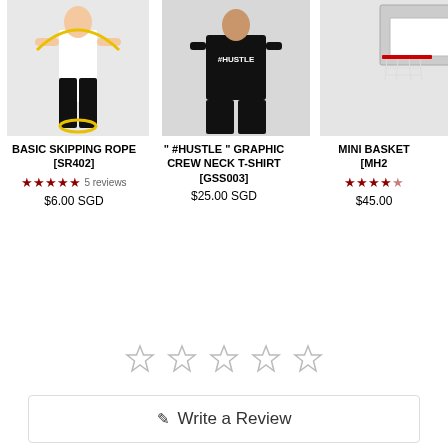[Figure (photo): Person in white sleeveless top and black pants holding a yellow skipping rope against a light gray background]
BASIC SKIPPING ROPE [SR402]
5 reviews
$6.00 SGD
[Figure (photo): Person in black #HUSTLE graphic crew neck t-shirt and black pants against a light gray background]
"#HUSTLE" GRAPHIC CREW NECK T-SHIRT [GSS003]
$25.00 SGD
[Figure (photo): Partial view of a mini basketball hoop product against a light background]
MINI BASKET... [MH2...]
$45.00
Write a Review